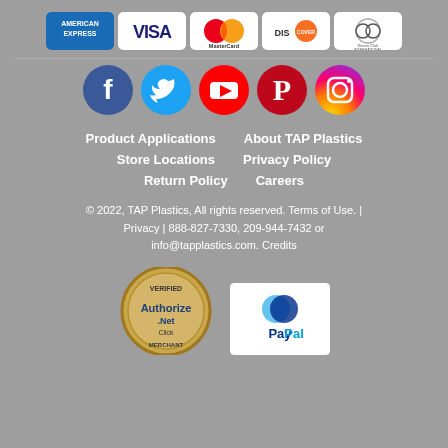[Figure (logo): Payment method logos: American Express, Visa, MasterCard, Discover, Diners Club International]
[Figure (illustration): Social media icons: Facebook, Twitter, YouTube, Pinterest, Instagram]
Product Applications
About TAP Plastics
Store Locations
Privacy Policy
Return Policy
Careers
© 2022, TAP Plastics, All rights reserved. Terms of Use. | Privacy | 888-827-7330, 209-944-7432 or info@tapplastics.com. Credits
[Figure (logo): Authorize.Net Verified Merchant seal and PayPal logo]